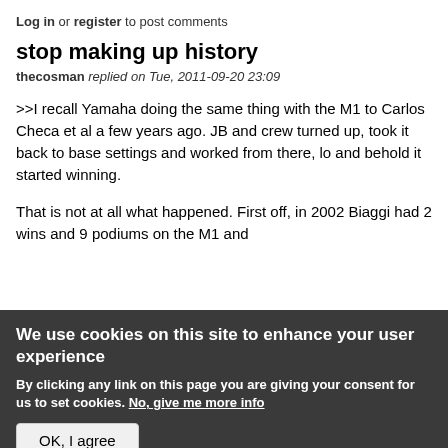Log in or register to post comments
stop making up history
thecosman replied on Tue, 2011-09-20 23:09
>>I recall Yamaha doing the same thing with the M1 to Carlos Checa et al a few years ago. JB and crew turned up, took it back to base settings and worked from there, lo and behold it started winning.
That is not at all what happened. First off, in 2002 Biaggi had 2 wins and 9 podiums on the M1 and
We use cookies on this site to enhance your user experience
By clicking any link on this page you are giving your consent for us to set cookies. No, give me more info
OK, I agree